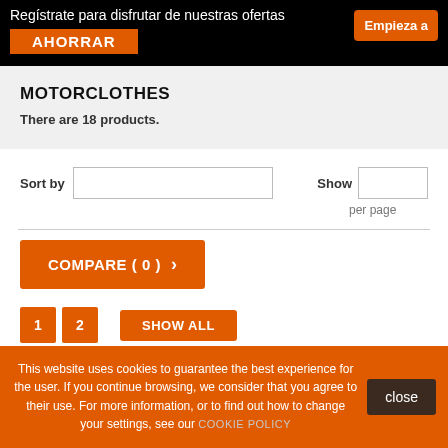Regístrate para disfrutar de nuestras ofertas AHORRAR Empieza a
MOTORCLOTHES
There are 18 products.
Sort by   Show   per page
COMPARE ( 0 ) >
1  2  SHOW ALL
This website uses cookies to guarantee the best experience for the user. If you continue browsing, we consider that you agree to their use. For more information, or to find out how to change your settings, see our COOKIE POLICY   close